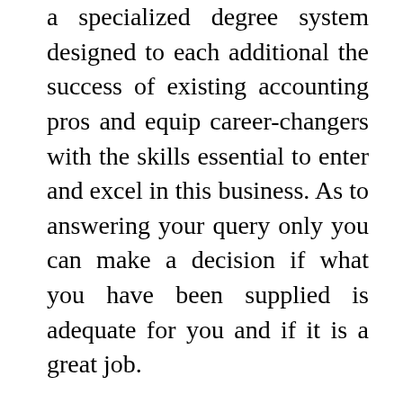a specialized degree system designed to each additional the success of existing accounting pros and equip career-changers with the skills essential to enter and excel in this business. As to answering your query only you can make a decision if what you have been supplied is adequate for you and if it is a great job.

That purpose is that they want somebody who is both